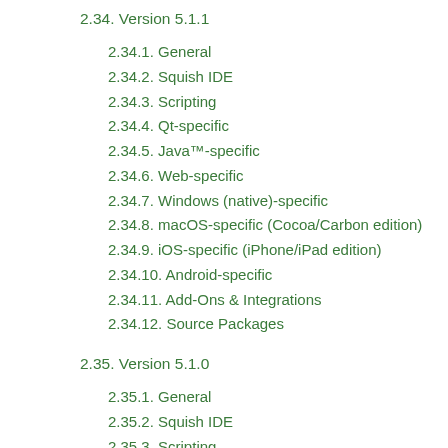2.34. Version 5.1.1
2.34.1. General
2.34.2. Squish IDE
2.34.3. Scripting
2.34.4. Qt-specific
2.34.5. Java™-specific
2.34.6. Web-specific
2.34.7. Windows (native)-specific
2.34.8. macOS-specific (Cocoa/Carbon edition)
2.34.9. iOS-specific (iPhone/iPad edition)
2.34.10. Android-specific
2.34.11. Add-Ons & Integrations
2.34.12. Source Packages
2.35. Version 5.1.0
2.35.1. General
2.35.2. Squish IDE
2.35.3. Scripting
2.35.4. Qt-specific
2.35.5. Java™-specific
2.35.6. Web-specific